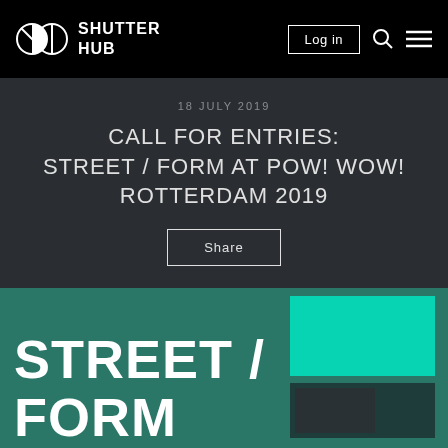SHUTTER HUB — Log in
18 JULY 2019
CALL FOR ENTRIES: STREET / FORM AT POW! WOW! ROTTERDAM 2019
Share
[Figure (illustration): Promotional graphic for Street / Form exhibition showing large white text reading STREET / FORM on a teal/green textured background with geometric shapes]